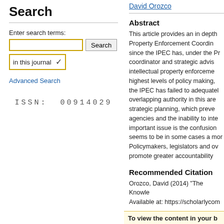Search
Enter search terms:
in this journal
Advanced Search
ISSN: 00914029
David Orozco
Abstract
This article provides an in depth Property Enforcement Coordin since the IPEC has, under the Pr coordinator and strategic advis intellectual property enforceme highest levels of policy making, the IPEC has failed to adequatel overlapping authority in this ar strategic planning, which preve agencies and the inability to int important issue is the confusion seems to be in some cases a mo Policymakers, legislators and o promote greater accountability
Recommended Citation
Orozco, David (2014) "The Knowle Available at: https://scholarlycom
To view the content in your b